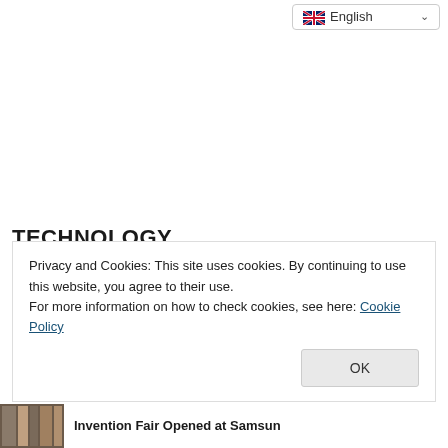English
TECHNOLOGY
Privacy and Cookies: This site uses cookies. By continuing to use this website, you agree to their use.
For more information on how to check cookies, see here: Cookie Policy
OK
Invention Fair Opened at Samsun